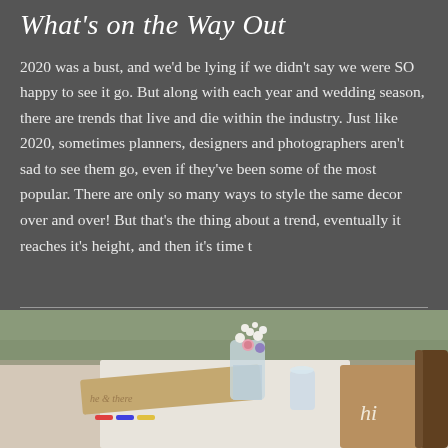What's on the Way Out
2020 was a bust, and we'd be lying if we didn't say we were SO happy to see it go. But along with each year and wedding season, there are trends that live and die within the industry. Just like 2020, sometimes planners, designers and photographers aren't sad to see them go, even if they've been some of the most popular. There are only so many ways to style the same decor over and over! But that's the thing about a trend, eventually it reaches it's height, and then it's time t
[Figure (photo): Wedding table decor photo showing kraft paper signage, baby's breath flowers in a jar, and decorative cards on a rustic table setting]